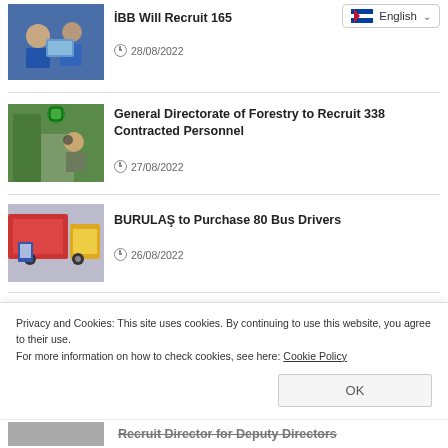[Figure (photo): Two people looking at a computer screen, blue-toned photo]
İBB Will Recruit 165
28/08/2022
[Figure (photo): Forestry logo and person looking through binoculars in forest]
General Directorate of Forestry to Recruit 338 Contracted Personnel
27/08/2022
[Figure (photo): Bus depot with buses and a person standing, red and blue colors]
BURULAŞ to Purchase 80 Bus Drivers
26/08/2022
Privacy and Cookies: This site uses cookies. By continuing to use this website, you agree to their use.
For more information on how to check cookies, see here: Cookie Policy
[Figure (photo): Partial image of another article at bottom, partially obscured]